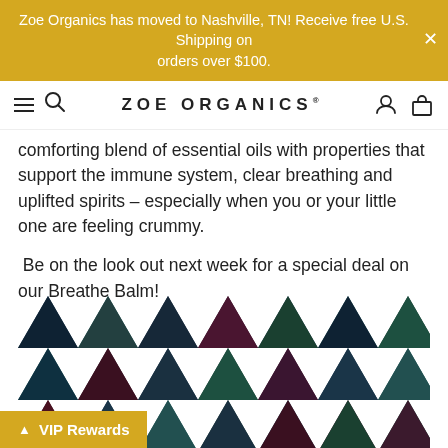Zoe Organics has moved to Nashville, TN! Receive free U.S. Shipping on orders over $100.
ZOE ORGANICS®
comforting blend of essential oils with properties that support the immune system, clear breathing and uplifted spirits – especially when you or your little one are feeling crummy.
Be on the look out next week for a special deal on our Breathe Balm!
[Figure (illustration): Geometric triangular pattern in dark teal, navy, dark green, and maroon colors arranged in a grid of triangles.]